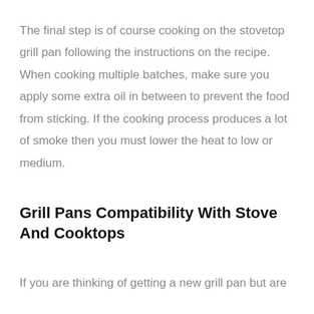The final step is of course cooking on the stovetop grill pan following the instructions on the recipe. When cooking multiple batches, make sure you apply some extra oil in between to prevent the food from sticking. If the cooking process produces a lot of smoke then you must lower the heat to low or medium.
Grill Pans Compatibility With Stove And Cooktops
If you are thinking of getting a new grill pan but are